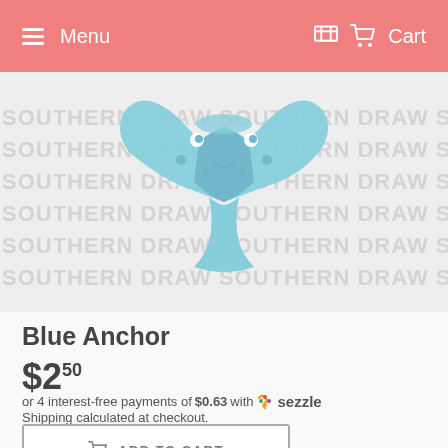Menu   Cart
[Figure (illustration): Blue anchor illustration on a watermark background repeating 'SOUTHERN DRAW' text in gray]
Blue Anchor
$2.50
or 4 interest-free payments of $0.63 with Sezzle
Shipping calculated at checkout.
ADD TO CART